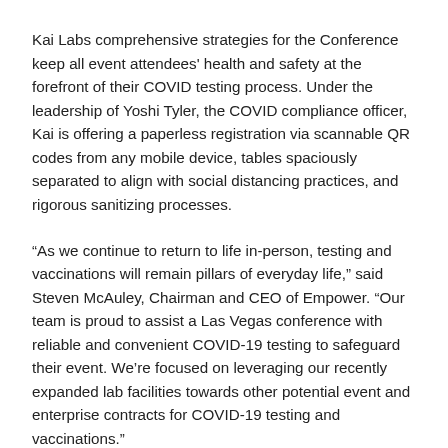Kai Labs comprehensive strategies for the Conference keep all event attendees' health and safety at the forefront of their COVID testing process. Under the leadership of Yoshi Tyler, the COVID compliance officer, Kai is offering a paperless registration via scannable QR codes from any mobile device, tables spaciously separated to align with social distancing practices, and rigorous sanitizing processes.
“As we continue to return to life in-person, testing and vaccinations will remain pillars of everyday life,” said Steven McAuley, Chairman and CEO of Empower. “Our team is proud to assist a Las Vegas conference with reliable and convenient COVID-19 testing to safeguard their event. We’re focused on leveraging our recently expanded lab facilities towards other potential event and enterprise contracts for COVID-19 testing and vaccinations.”